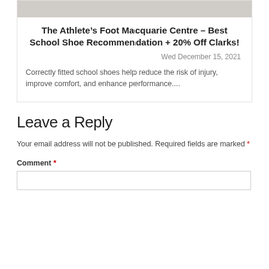[Figure (photo): Partial view of a shoe store interior, top of card image]
The Athlete’s Foot Macquarie Centre – Best School Shoe Recommendation + 20% Off Clarks!
Wed December 15, 2021
Correctly fitted school shoes help reduce the risk of injury, improve comfort, and enhance performance....
Leave a Reply
Your email address will not be published. Required fields are marked *
Comment *